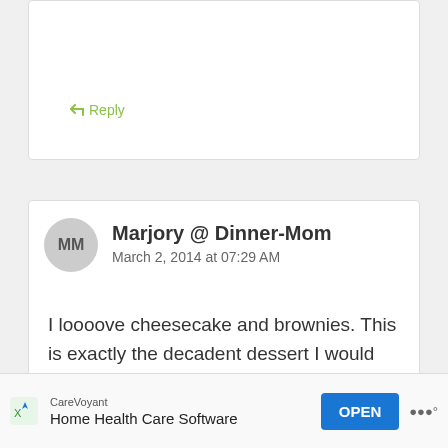↩ Reply
Marjory @ Dinner-Mom
March 2, 2014 at 07:29 AM
I loooove cheesecake and brownies. This is exactly the decadent dessert I would pick on Fat Tuesday.
↩ Reply
Renee
[Figure (screenshot): Ad banner: CareVoyant Home Health Care Software with OPEN button]